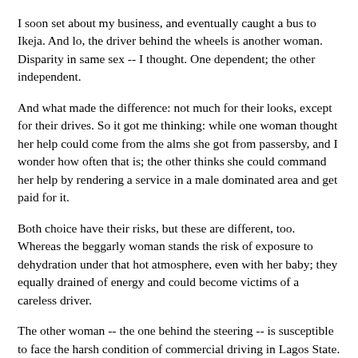I soon set about my business, and eventually caught a bus to Ikeja. And lo, the driver behind the wheels is another woman. Disparity in same sex -- I thought. One dependent; the other independent.
And what made the difference: not much for their looks, except for their drives. So it got me thinking: while one woman thought her help could come from the alms she got from passersby, and I wonder how often that is; the other thinks she could command her help by rendering a service in a male dominated area and get paid for it.
Both choice have their risks, but these are different, too. Whereas the beggarly woman stands the risk of exposure to dehydration under that hot atmosphere, even with her baby; they equally drained of energy and could become victims of a careless driver.
The other woman -- the one behind the steering -- is susceptible to face the harsh condition of commercial driving in Lagos State. Worst still, she could run into direct confrontation with the regular area boys extorting commercial drivers with illegitimate fees.